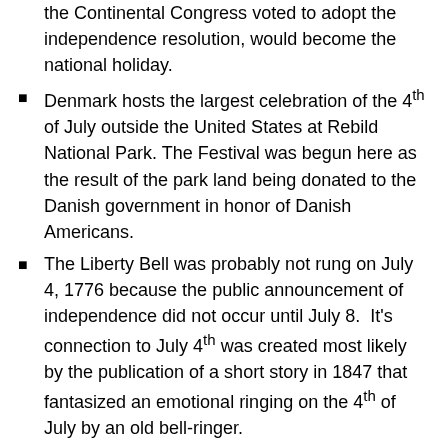the Continental Congress voted to adopt the independence resolution, would become the national holiday.
Denmark hosts the largest celebration of the 4th of July outside the United States at Rebild National Park. The Festival was begun here as the result of the park land being donated to the Danish government in honor of Danish Americans.
The Liberty Bell was probably not rung on July 4, 1776 because the public announcement of independence did not occur until July 8. It's connection to July 4th was created most likely by the publication of a short story in 1847 that fantasized an emotional ringing on the 4th of July by an old bell-ringer.
[Figure (photo): A black and white photograph, partially visible, showing a building with text including 'GE' visible.]